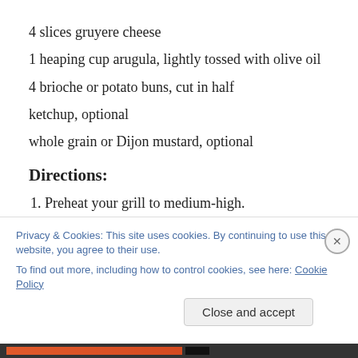4 slices gruyere cheese
1 heaping cup arugula, lightly tossed with olive oil
4 brioche or potato buns, cut in half
ketchup, optional
whole grain or Dijon mustard, optional
Directions:
Preheat your grill to medium-high.
Heat a large saute pan on medium heat. Add the oil, onions, garlic, thyme, and paprika. Cook the onions
Privacy & Cookies: This site uses cookies. By continuing to use this website, you agree to their use.
To find out more, including how to control cookies, see here: Cookie Policy
Close and accept